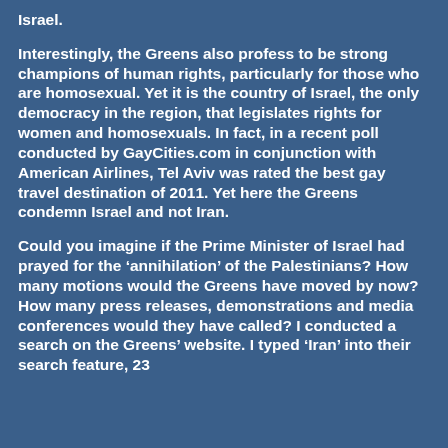Israel.
Interestingly, the Greens also profess to be strong champions of human rights, particularly for those who are homosexual. Yet it is the country of Israel, the only democracy in the region, that legislates rights for women and homosexuals. In fact, in a recent poll conducted by GayCities.com in conjunction with American Airlines, Tel Aviv was rated the best gay travel destination of 2011. Yet here the Greens condemn Israel and not Iran.
Could you imagine if the Prime Minister of Israel had prayed for the ‘annihilation’ of the Palestinians? How many motions would the Greens have moved by now? How many press releases, demonstrations and media conferences would they have called? I conducted a search on the Greens’ website. I typed ‘Iran’ into their search feature, 23